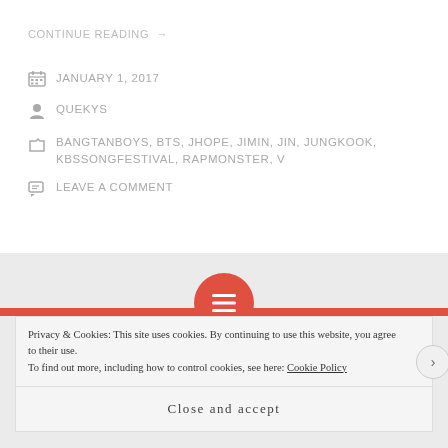CONTINUE READING →
JANUARY 1, 2017
QUEKYS
BANGTANBOYS, BTS, JHOPE, JIMIN, JIN, JUNGKOOK, KBSSONGFESTIVAL, RAPMONSTER, V
LEAVE A COMMENT
Privacy & Cookies: This site uses cookies. By continuing to use this website, you agree to their use. To find out more, including how to control cookies, see here: Cookie Policy
Close and accept